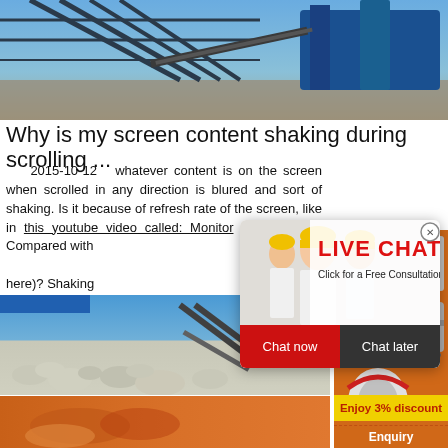[Figure (photo): Industrial conveyor belt and crane machinery against blue sky and rocky terrain]
Why is my screen content shaking during scrolling ...
2015-10-12   whatever content is on the screen when scrolled in any direction is blured and sort of shaking. Is it because of refresh rate of the screen, like in this youtube video called: Monitor Refresh Rate Compared with (here)? Shaking 30Hz refresh ra
[Figure (photo): Live Chat popup overlay with construction workers in yellow hard hats, showing LIVE CHAT heading, Click for a Free Consultation text, Chat now and Chat later buttons]
[Figure (photo): Orange sidebar with industrial crushing and grinding machines]
[Figure (photo): Quarry with white rocks/aggregate and conveyor against blue sky]
Enjoy 3% discount
Click to Chat
Enquiry
[Figure (photo): Close-up of hands holding orange/brown industrial material]